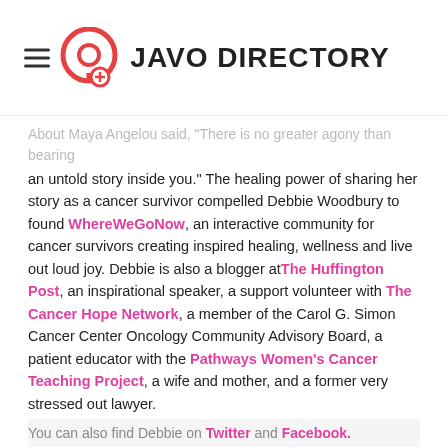JAVO DIRECTORY
About Maya Angelou said, "There is no greater agony than bearing an untold story inside you." The healing power of sharing her story as a cancer survivor compelled Debbie Woodbury to found WhereWeGoNow, an interactive community for cancer survivors creating inspired healing, wellness and live out loud joy. Debbie is also a blogger at The Huffington Post, an inspirational speaker, a support volunteer with The Cancer Hope Network, a member of the Carol G. Simon Cancer Center Oncology Community Advisory Board, a patient educator with the Pathways Women's Cancer Teaching Project, a wife and mother, and a former very stressed out lawyer.
You can also find Debbie on Twitter and Facebook.
Copyright (c) 2013 WhereWeGoNow LLC and 123 RF Photos
Sponsors